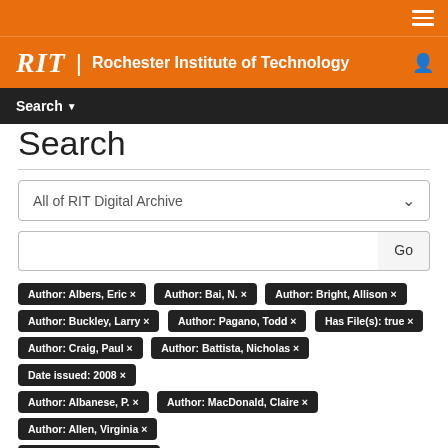RIT | Rochester Institute of Technology
Search
All of RIT Digital Archive
Author: Albers, Eric ×
Author: Bai, N. ×
Author: Bright, Allison ×
Author: Buckley, Larry ×
Author: Pagano, Todd ×
Has File(s): true ×
Author: Craig, Paul ×
Author: Battista, Nicholas ×
Date issued: 2008 ×
Author: Albanese, P. ×
Author: MacDonald, Claire ×
Author: Allen, Virginia ×
Author: Newman, Dina ×
Show Advanced Filters